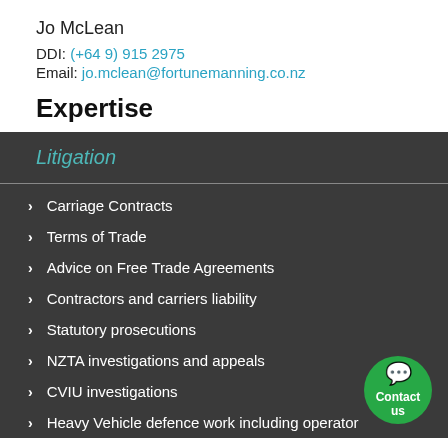Jo McLean
DDI: (+64 9) 915 2975
Email: jo.mclean@fortunemanning.co.nz
Expertise
Litigation
Carriage Contracts
Terms of Trade
Advice on Free Trade Agreements
Contractors and carriers liability
Statutory prosecutions
NZTA investigations and appeals
CVIU investigations
Heavy Vehicle defence work including operator